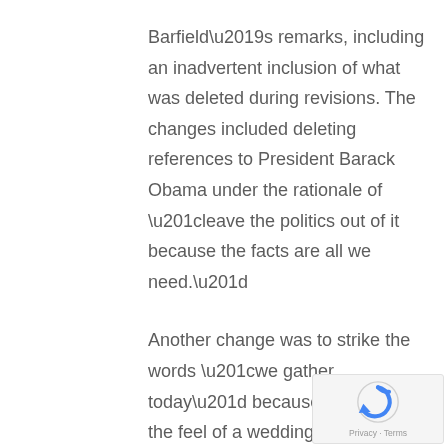Barfield's remarks, including an inadvertent inclusion of what was deleted during revisions. The changes included deleting references to President Barack Obama under the rationale of “leave the politics out of it because the facts are all we need.”
Another change was to strike the words “we gather today” because they invoked the feel of a wedding or a funeral.
[Figure (logo): reCAPTCHA logo with Privacy and Terms links]